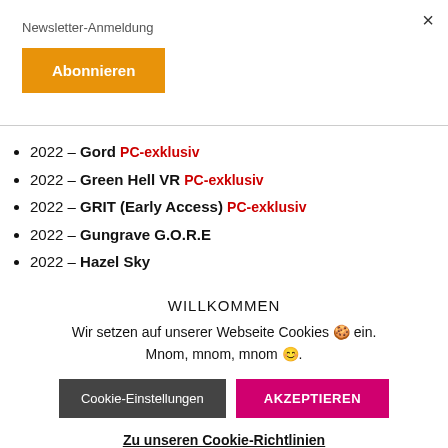×
Newsletter-Anmeldung
Abonnieren
2022 – Gord PC-exklusiv
2022 – Green Hell VR PC-exklusiv
2022 – GRIT (Early Access) PC-exklusiv
2022 – Gungrave G.O.R.E
2022 – Hazel Sky
WILLKOMMEN
Wir setzen auf unserer Webseite Cookies 🍪 ein. Mnom, mnom, mnom 😊.
Cookie-Einstellungen
AKZEPTIEREN
Zu unseren Cookie-Richtlinien